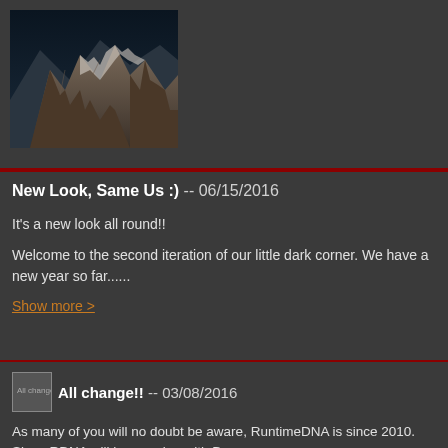[Figure (photo): Mountain landscape with snow-capped rocky peaks against dark sky]
New Look, Same Us :) -- 06/15/2016
It's a new look all round!!
Welcome to the second iteration of our little dark corner. We have a new year so far......
Show more >
All change!! -- 03/08/2016
[Figure (photo): Small thumbnail image labeled All change!!]
As many of you will no doubt be aware, RuntimeDNA is since 2010. Since RDNA will be merging with Daz, we
The migration is in process at the moment, but as there